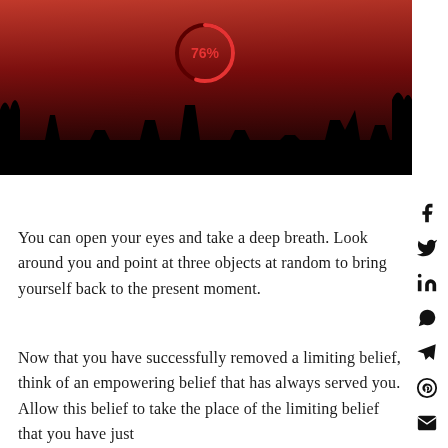[Figure (photo): Silhouette landscape photo at sunset/dusk with dramatic red and dark sky, featuring a circular progress indicator showing 76% in red overlay]
You can open your eyes and take a deep breath. Look around you and point at three objects at random to bring yourself back to the present moment.
Now that you have successfully removed a limiting belief, think of an empowering belief that has always served you. Allow this belief to take the place of the limiting belief that you have just